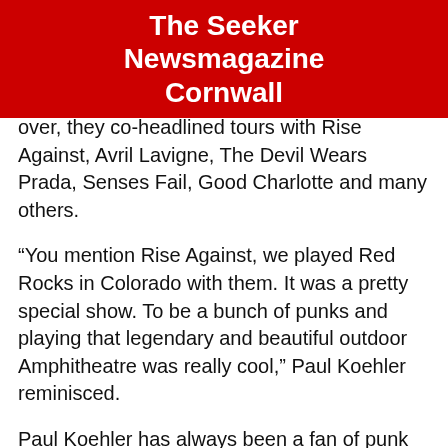The Seeker Newsmagazine Cornwall
over, they co-headlined tours with Rise Against, Avril Lavigne, The Devil Wears Prada, Senses Fail, Good Charlotte and many others.
“You mention Rise Against, we played Red Rocks in Colorado with them. It was a pretty special show. To be a bunch of punks and playing that legendary and beautiful outdoor Amphitheatre was really cool,” Paul Koehler reminisced.
Paul Koehler has always been a fan of punk rock, and that musical influence is apparent on the album “Short Songs” which features numerous punk rock cover songs including Nofx’s “It’s my job to keep punk rock elite”.
“For me 100%. (Punk) it’s all I cared about. The “post